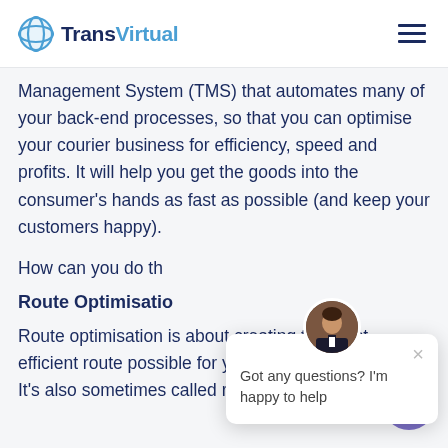TransVirtual
Management System (TMS) that automates many of your back-end processes, so that you can optimise your courier business for efficiency, speed and profits. It will help you get the goods into the consumer's hands as fast as possible (and keep your customers happy).
How can you do th...
Route Optimisatio...
Route optimisation is about creating the most efficient route possible for your drive... It's also sometimes called route planning or...
[Figure (other): Chat popup with avatar photo of a man in a tuxedo. Message reads: Got any questions? I'm happy to help. Close button (×) in top right. Below right: purple chat button with speech bubble icon.]